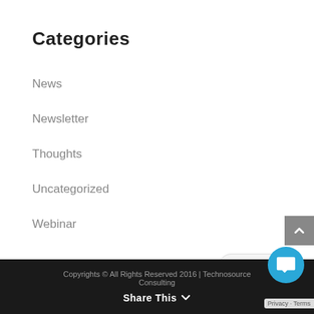Categories
News
Newsletter
Thoughts
Uncategorized
Webinar
Contact Us
Copyrights © All Rights Reserved 2016 | Technosource Consulting
Share This